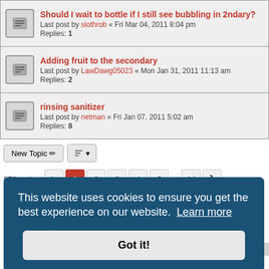Should I wait to bottle if I still see bubbling in 2ndary? Last post by slothrob « Fri Mar 04, 2011 8:04 pm Replies: 1
Adding fruit to the secondary Last post by LawDawg05023 « Mon Jan 31, 2011 11:13 am Replies: 2
rinsing sanitizer Last post by netman « Fri Jan 07, 2011 5:02 am Replies: 8
New Topic | sort button
672 topics · pages 1 2 3 4 5 ... 14
Jump to
FORUM PERMISSIONS
This website uses cookies to ensure you get the best experience on our website. Learn more
Got it!
UTC-04:00